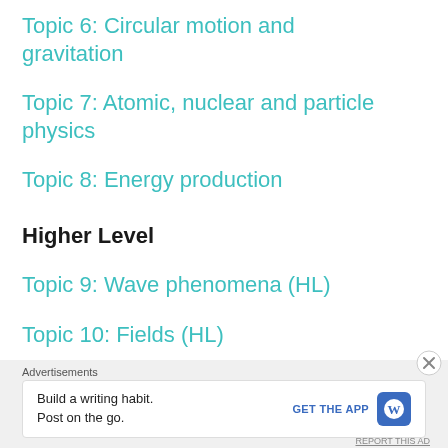Topic 6: Circular motion and gravitation
Topic 7: Atomic, nuclear and particle physics
Topic 8: Energy production
Higher Level
Topic 9: Wave phenomena (HL)
Topic 10: Fields (HL)
Advertisements
Build a writing habit. Post on the go.
GET THE APP